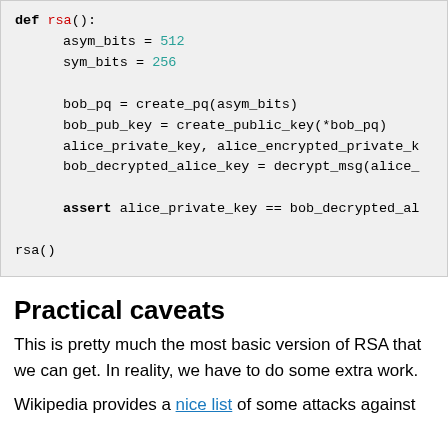[Figure (other): Python code block showing def rsa(): function with asym_bits=512, sym_bits=256, bob_pq, bob_pub_key, alice_private_key, bob_decrypted_alice_key assignments, assert statement, and rsa() call]
Practical caveats
This is pretty much the most basic version of RSA that we can get. In reality, we have to do some extra work.
Wikipedia provides a nice list of some attacks against